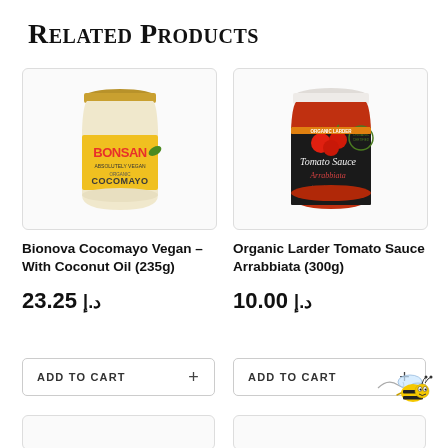Related Products
[Figure (photo): Bonsan Absolutely Vegan Organic Cocomayo jar with yellow label]
[Figure (photo): Organic Larder Tomato Sauce Arrabbiata jar with dark label]
Bionova Cocomayo Vegan – With Coconut Oil (235g)
Organic Larder Tomato Sauce Arrabbiata (300g)
23.25 د.إ
10.00 د.إ
ADD TO CART +
ADD TO CART +
[Figure (illustration): Cartoon bee illustration with yellow and black stripes]